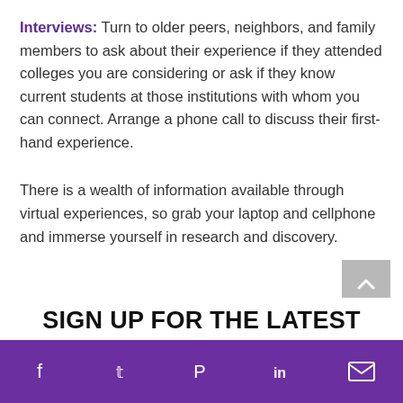Interviews: Turn to older peers, neighbors, and family members to ask about their experience if they attended colleges you are considering or ask if they know current students at those institutions with whom you can connect. Arrange a phone call to discuss their first-hand experience.
There is a wealth of information available through virtual experiences, so grab your laptop and cellphone and immerse yourself in research and discovery.
SIGN UP FOR THE LATEST
Social share icons: Facebook, Twitter, Pinterest, LinkedIn, Email